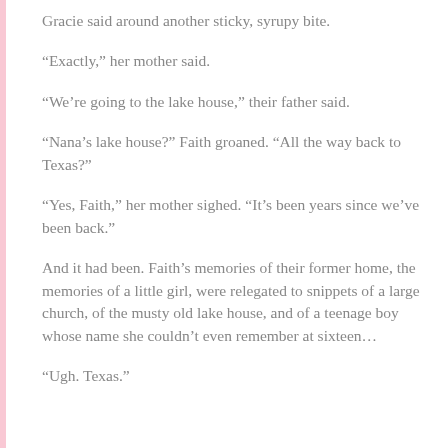Gracie said around another sticky, syrupy bite.
“Exactly,” her mother said.
“We’re going to the lake house,” their father said.
“Nana’s lake house?” Faith groaned. “All the way back to Texas?”
“Yes, Faith,” her mother sighed. “It’s been years since we’ve been back.”
And it had been. Faith’s memories of their former home, the memories of a little girl, were relegated to snippets of a large church, of the musty old lake house, and of a teenage boy whose name she couldn’t even remember at sixteen…
“Ugh. Texas.”